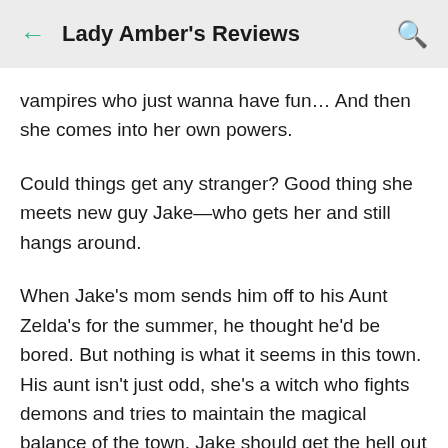Lady Amber's Reviews
vampires who just wanna have fun… And then she comes into her own powers.
Could things get any stranger? Good thing she meets new guy Jake—who gets her and still hangs around.
When Jake's mom sends him off to his Aunt Zelda's for the summer, he thought he'd be bored. But nothing is what it seems in this town. His aunt isn't just odd, she's a witch who fights demons and tries to maintain the magical balance of the town. Jake should get the hell out of there and, he would leave, except for bad-ass